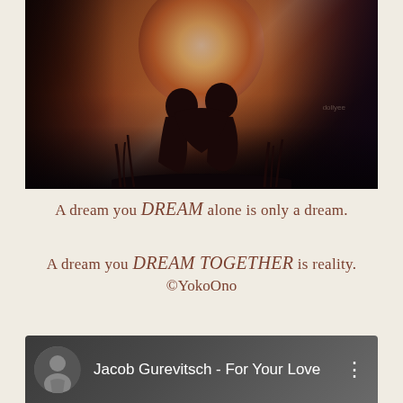[Figure (photo): Two silhouetted figures kissing in front of a large glowing moon against a dark atmospheric sky with clouds. Dark grasses and butterflies visible at edges.]
A dream you DREAM alone is only a dream.
A dream you DREAM TOGETHER is reality.
©YokoOno
[Figure (screenshot): Music player bar showing: Jacob Gurevitsch - For Your Love, with a circular avatar photo of a man on the left and three-dot menu on the right.]